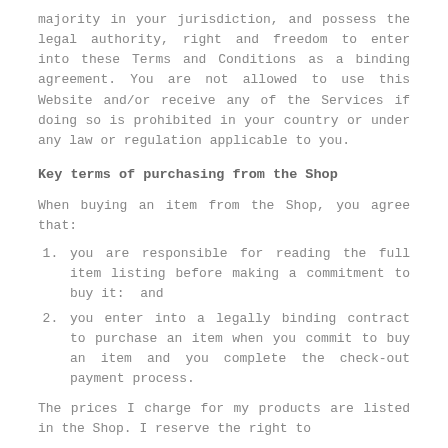majority in your jurisdiction, and possess the legal authority, right and freedom to enter into these Terms and Conditions as a binding agreement. You are not allowed to use this Website and/or receive any of the Services if doing so is prohibited in your country or under any law or regulation applicable to you.
Key terms of purchasing from the Shop
When buying an item from the Shop, you agree that:
you are responsible for reading the full item listing before making a commitment to buy it:  and
you enter into a legally binding contract to purchase an item when you commit to buy an item and you complete the check-out payment process.
The prices I charge for my products are listed in the Shop. I reserve the right to